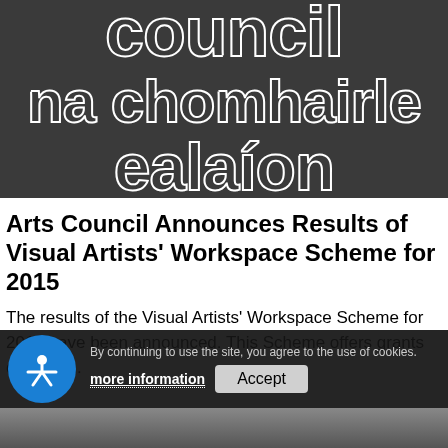[Figure (logo): Arts Council / An Chomhairle Ealaíon logo — white bold text on dark grey background reading 'council', 'na chomhairle', 'ealaíon']
Arts Council Announces Results of Visual Artists' Workspace Scheme for 2015
The results of the Visual Artists' Workspace Scheme for 2015 have been announced. This Scheme offers grants of up to ...
By continuing to use the site, you agree to the use of cookies. more information  Accept
[Figure (photo): Partial photo of people at the bottom of the page, mostly obscured by the cookie bar]